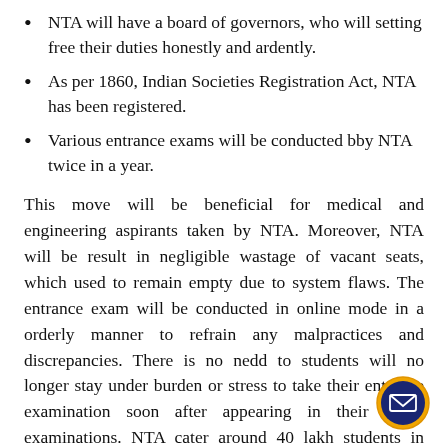NTA will have a board of governors, who will setting free their duties honestly and ardently.
As per 1860, Indian Societies Registration Act, NTA has been registered.
Various entrance exams will be conducted bby NTA twice in a year.
This move will be beneficial for medical and engineering aspirants taken by NTA. Moreover, NTA will be result in negligible wastage of vacant seats, which used to remain empty due to system flaws. The entrance exam will be conducted in online mode in a orderly manner to refrain any malpractices and discrepancies. There is no nedd to students will no longer stay under burden or stress to take their entrance examination soon after appearing in their board examinations. NTA cater around 40 lakh students in various entrance examinations.
Improvement of the quality of education